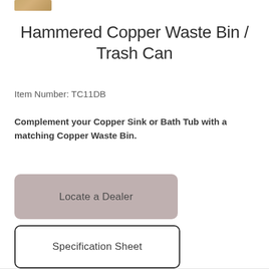[Figure (photo): Small thumbnail image of a copper waste bin product, partially cropped at the top of the page]
Hammered Copper Waste Bin / Trash Can
Item Number: TC11DB
Complement your Copper Sink or Bath Tub with a matching Copper Waste Bin.
Locate a Dealer
Specification Sheet